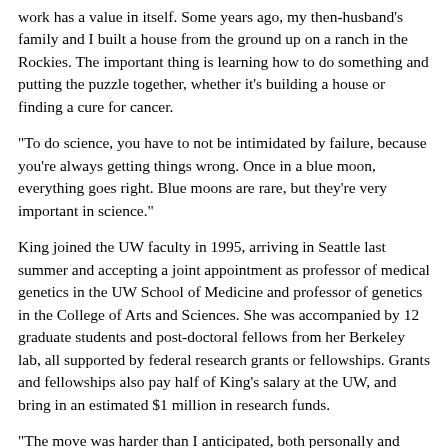work has a value in itself. Some years ago, my then-husband's family and I built a house from the ground up on a ranch in the Rockies. The important thing is learning how to do something and putting the puzzle together, whether it's building a house or finding a cure for cancer.
"To do science, you have to not be intimidated by failure, because you're always getting things wrong. Once in a blue moon, everything goes right. Blue moons are rare, but they're very important in science."
King joined the UW faculty in 1995, arriving in Seattle last summer and accepting a joint appointment as professor of medical genetics in the UW School of Medicine and professor of genetics in the College of Arts and Sciences. She was accompanied by 12 graduate students and post-doctoral fellows from her Berkeley lab, all supported by federal research grants or fellowships. Grants and fellowships also pay half of King's salary at the UW, and bring in an estimated $1 million in research funds.
"The move was harder than I anticipated, both personally and professionally, because I had 30 years of history at Berkeley," says King. "But it's been a very good decision."
At Berkeley, King's lab was the only one working in human genetics and the chromosomal relationship between chimpanzees and the